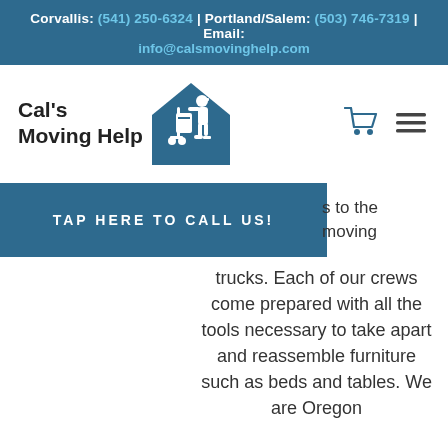Corvallis: (541) 250-6324 | Portland/Salem: (503) 746-7319 | Email: info@calsmovinghelp.com
[Figure (logo): Cal's Moving Help logo with mover pushing dolly inside house silhouette]
TAP HERE TO CALL US!
s to the moving trucks. Each of our crews come prepared with all the tools necessary to take apart and reassemble furniture such as beds and tables. We are Oregon